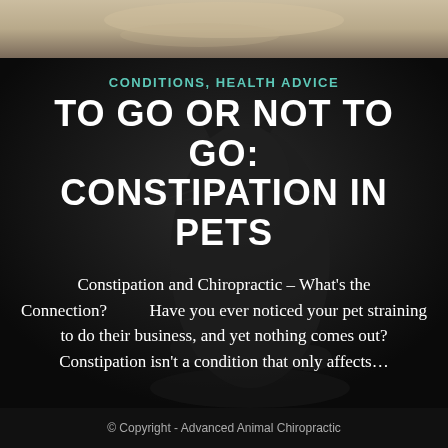[Figure (photo): Top strip showing a light-colored dog photo in beige/cream tones]
[Figure (photo): Dark background with a black and white cat silhouette photo as background]
CONDITIONS, HEALTH ADVICE
TO GO OR NOT TO GO: CONSTIPATION IN PETS
Constipation and Chiropractic – What's the Connection?          Have you ever noticed your pet straining to do their business, and yet nothing comes out? Constipation isn't a condition that only affects…
© Copyright - Advanced Animal Chiropractic